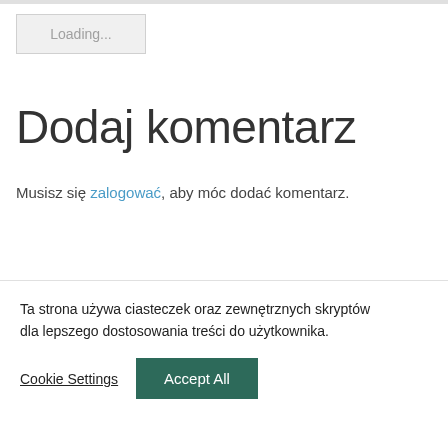[Figure (screenshot): Loading button with grey background and border]
Dodaj komentarz
Musisz się zalogować, aby móc dodać komentarz.
Ta strona używa ciasteczek oraz zewnętrznych skryptów dla lepszego dostosowania treści do użytkownika.
Cookie Settings  Accept All